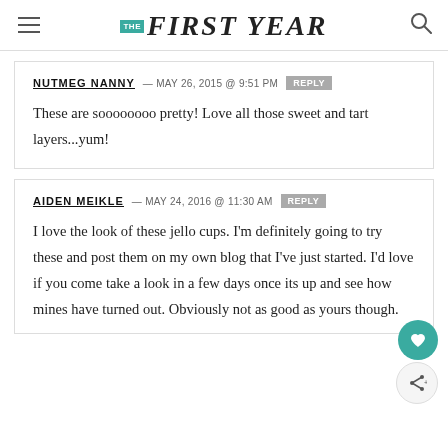THE FIRST YEAR
NUTMEG NANNY — MAY 26, 2015 @ 9:51 PM REPLY
These are soooooooo pretty! Love all those sweet and tart layers...yum!
AIDEN MEIKLE — MAY 24, 2016 @ 11:30 AM REPLY
I love the look of these jello cups. I'm definitely going to try these and post them on my own blog that I've just started. I'd love if you come take a look in a few days once its up and see how mines have turned out. Obviously not as good as yours though.